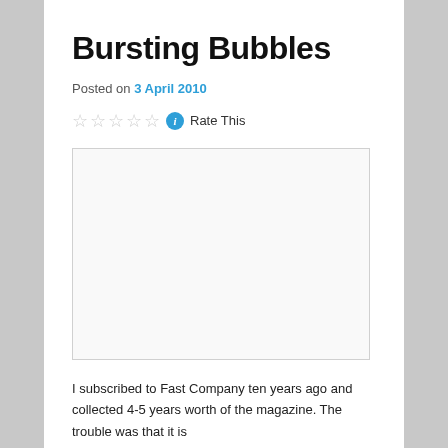Bursting Bubbles
Posted on 3 April 2010
[Figure (other): Rating stars (5 empty stars) with info icon and Rate This label]
[Figure (other): Empty image placeholder box with light border]
I subscribed to Fast Company ten years ago and collected 4-5 years worth of the magazine. The trouble was that it is